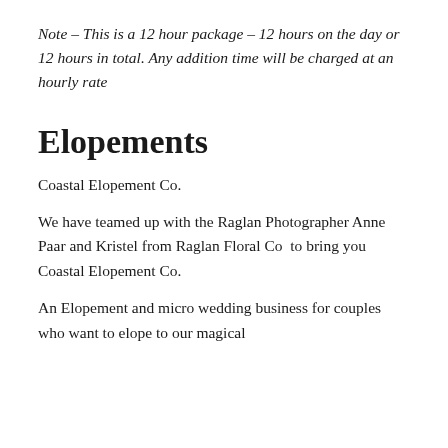Note – This is a 12 hour package – 12 hours on the day or 12 hours in total.  Any addition time will be charged at an hourly rate
Elopements
Coastal Elopement Co.
We have teamed up with the Raglan Photographer Anne Paar and Kristel from Raglan Floral Co  to bring you Coastal Elopement Co.
An Elopement and micro wedding business for couples who want to elope to our magical